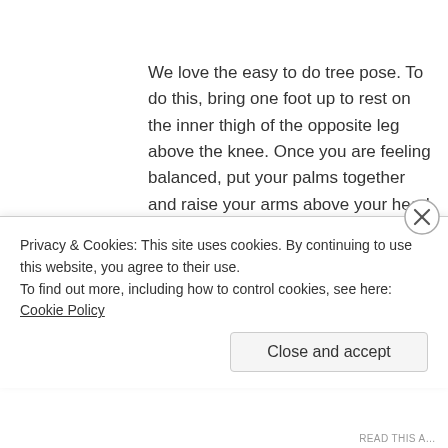We love the easy to do tree pose. To do this, bring one foot up to rest on the inner thigh of the opposite leg above the knee. Once you are feeling balanced, put your palms together and raise your arms above your head until they are nearly, but not quite, straight. Then, breathe in and out slowly as you maintain your balance and and feel your strength grow. We like this because it's brilliant for posture and lengthening your spine, but it also opens your lungs and relaxes your mind which makes it great if you are feeling stressed
Privacy & Cookies: This site uses cookies. By continuing to use this website, you agree to their use.
To find out more, including how to control cookies, see here: Cookie Policy
Close and accept
READ THIS A...